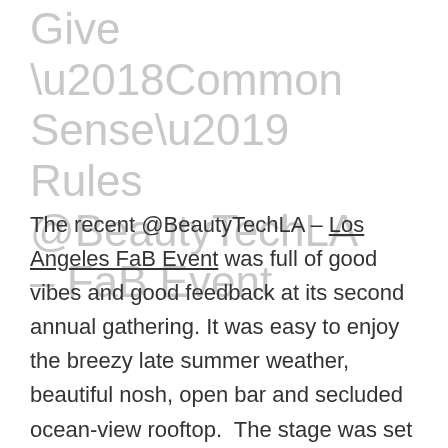Give ‘Common Sense’ Rules @BeautyTechLA – FaB Event
The recent @BeautyTechLA – Los Angeles FaB Event was full of good vibes and good feedback at its second annual gathering. It was easy to enjoy the breezy late summer weather, beautiful nosh, open bar and secluded ocean-view rooftop.  The stage was set for relaxed industry camaraderie.